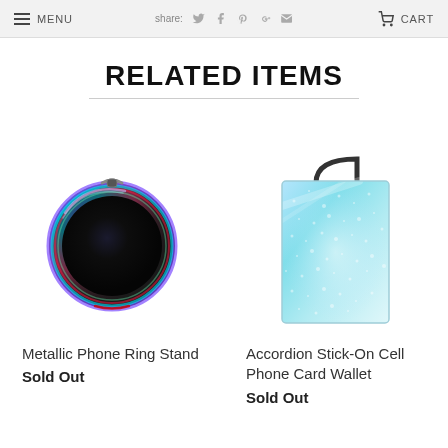MENU  Share  CART
RELATED ITEMS
[Figure (photo): Metallic iridescent phone ring stand, circular, rainbow/oil-slick finish with a black center and ring holder on top]
Metallic Phone Ring Stand
Sold Out
[Figure (photo): Accordion stick-on cell phone card wallet, light blue holographic/sparkle texture with black loop handle at the top]
Accordion Stick-On Cell Phone Card Wallet
Sold Out